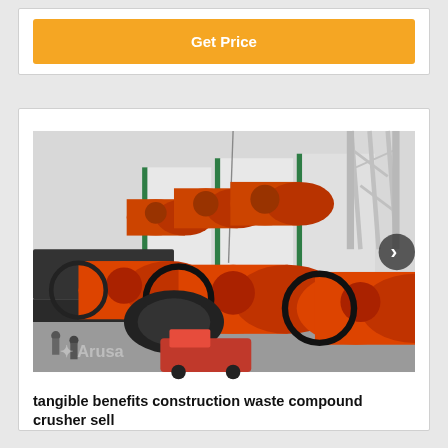Get Price
[Figure (photo): Industrial factory floor with multiple large orange ball mills (cylindrical grinding machines) arranged in rows, viewed from above at an angle. Workers visible in lower left. A red truck is parked in the lower center. Steel truss structure and white wall panels visible in the background. Arusea watermark visible in lower left corner.]
tangible benefits construction waste compound crusher sell